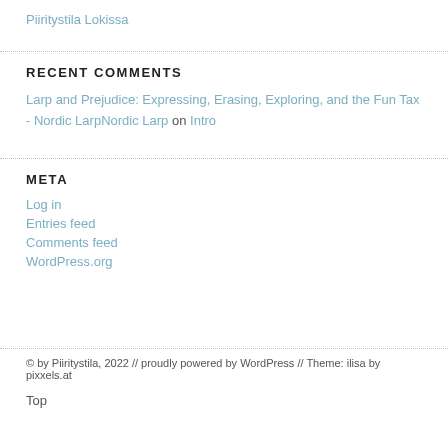Piiritystila Lokissa
RECENT COMMENTS
Larp and Prejudice: Expressing, Erasing, Exploring, and the Fun Tax - Nordic LarpNordic Larp on Intro
META
Log in
Entries feed
Comments feed
WordPress.org
© by Piiritystila, 2022 // proudly powered by WordPress // Theme: ilisa by pixxels.at
Top